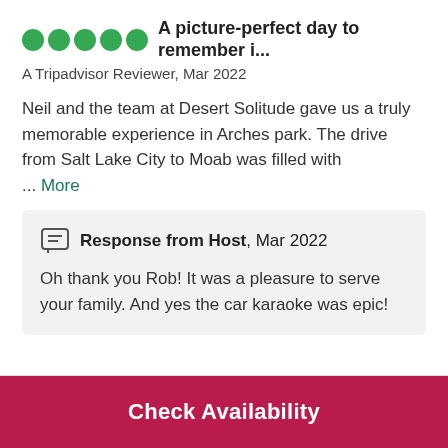A picture-perfect day to remember i...
A Tripadvisor Reviewer, Mar 2022
Neil and the team at Desert Solitude gave us a truly memorable experience in Arches park. The drive from Salt Lake City to Moab was filled with
... More
Response from Host, Mar 2022
Oh thank you Rob! It was a pleasure to serve your family. And yes the car karaoke was epic!
Check Availability